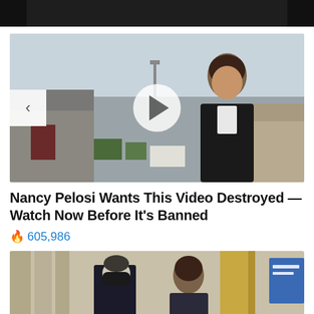[Figure (photo): Dark navigation bar at top of webpage with black background]
[Figure (photo): Video thumbnail showing a woman in a dark jacket smiling outdoors at what appears to be a facility, with a white circular play button overlay in the center and a left navigation arrow on the left side]
Nancy Pelosi Wants This Video Destroyed — Watch Now Before It's Banned
🔥 605,986
[Figure (photo): Partial thumbnail of a second video showing two people, one wearing a black mask, in what appears to be an indoor setting with curtains and a gold decorative element]